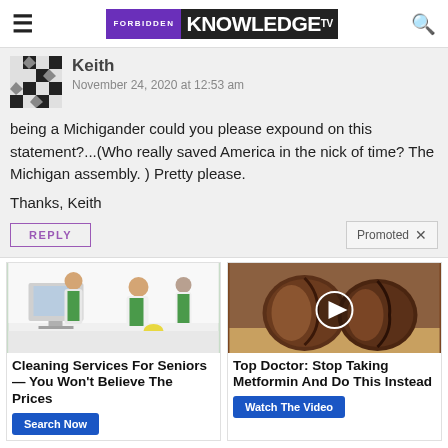FORBIDDEN KNOWLEDGE TV
Keith
November 24, 2020 at 12:53 am
being a Michigander could you please expound on this statement?...(Who really saved America in the nick of time? The Michigan assembly. ) Pretty please.

Thanks, Keith
REPLY
Promoted
[Figure (photo): Cleaning service workers in green aprons cleaning an office]
Cleaning Services For Seniors — You Won't Believe The Prices
Search Now
[Figure (photo): Two cracked open macadamia nuts on a wooden surface with a video play button overlay]
Top Doctor: Stop Taking Metformin And Do This Instead
Watch The Video